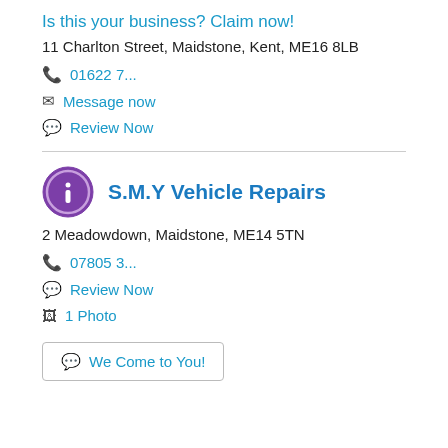Is this your business? Claim now!
11 Charlton Street, Maidstone, Kent, ME16 8LB
01622 7...
Message now
Review Now
S.M.Y Vehicle Repairs
2 Meadowdown, Maidstone, ME14 5TN
07805 3...
Review Now
1 Photo
We Come to You!